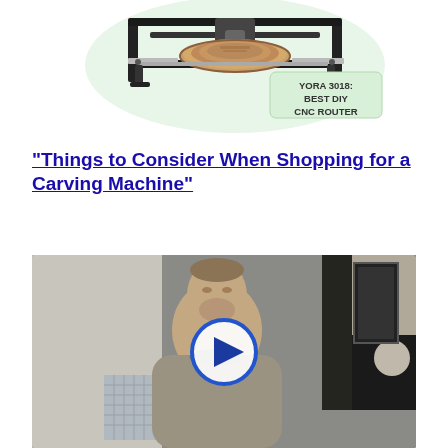[Figure (photo): CNC router machine (YORA 3018) with a wood slice on the work bed, on a light green circular background. A label reads 'YORA 3018: BEST DIY CNC ROUTER'.]
"Things to Consider When Shopping for a Carving Machine"
[Figure (screenshot): Video thumbnail showing a man in a grey sweater standing in a room. A circular play button (blue outline, white fill, dark blue triangle) is overlaid in the center.]